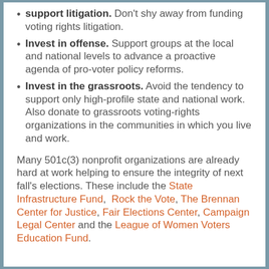support litigation. Don't shy away from funding voting rights litigation.
Invest in offense. Support groups at the local and national levels to advance a proactive agenda of pro-voter policy reforms.
Invest in the grassroots. Avoid the tendency to support only high-profile state and national work. Also donate to grassroots voting-rights organizations in the communities in which you live and work.
Many 501c(3) nonprofit organizations are already hard at work helping to ensure the integrity of next fall's elections. These include the State Infrastructure Fund, Rock the Vote, The Brennan Center for Justice, Fair Elections Center, Campaign Legal Center and the League of Women Voters Education Fund.